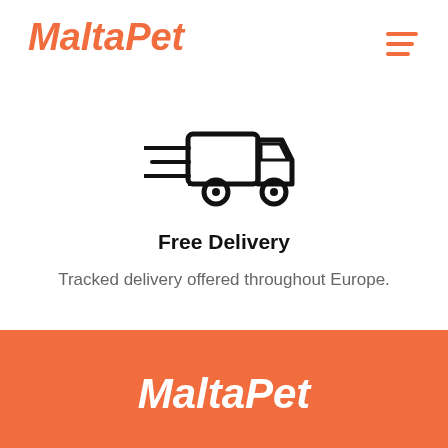[Figure (logo): MaltaPet logo in orange italic bold font with paw print icon]
[Figure (illustration): Fast delivery truck icon with speed lines, black outline style]
Free Delivery
Tracked delivery offered throughout Europe.
[Figure (logo): MaltaPet logo in white on orange background footer]